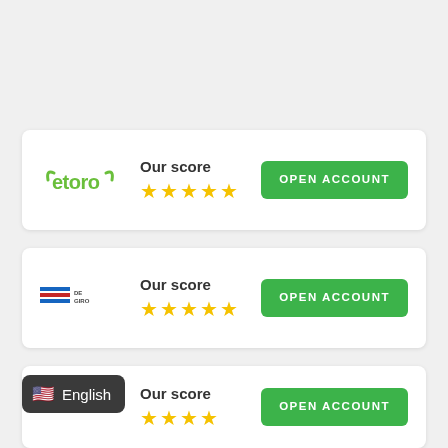[Figure (logo): eToro logo in green]
Our score
[Figure (other): Five yellow stars rating]
OPEN ACCOUNT
[Figure (logo): DeGiro logo with blue and red lines]
Our score
[Figure (other): Five yellow stars rating]
OPEN ACCOUNT
Our score
[Figure (other): Four yellow stars rating (partially visible)]
OPEN ACCOUNT
English